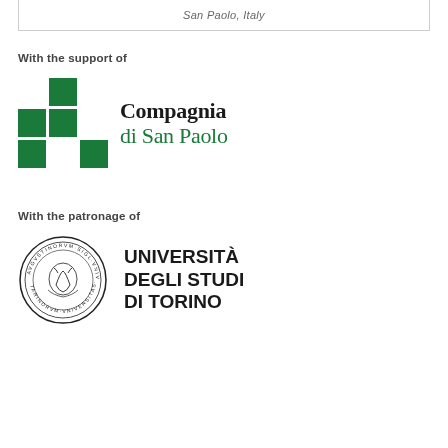San Paolo, Italy
With the support of
[Figure (logo): Compagnia di San Paolo logo: green cross-pattern grid on left, text 'Compagnia di San Paolo' on right with top line in black serif and bottom line in green serif]
With the patronage of
[Figure (logo): Università degli Studi di Torino logo: circular seal/emblem on left, text 'UNIVERSITÀ DEGLI STUDI DI TORINO' in bold black on right]